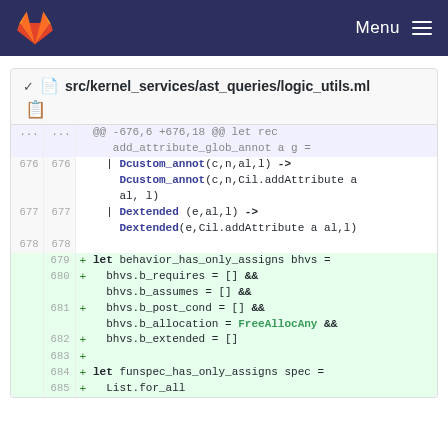GitLab — Menu
src/kernel_services/ast_queries/logic_utils.ml
[Figure (screenshot): Code diff view showing a GitLab diff for src/kernel_services/ast_queries/logic_utils.ml. Lines 676-685 shown, with new lines 679-685 added (green background). The diff shows OCaml code for behavior_has_only_assigns and funspec_has_only_assigns functions.]